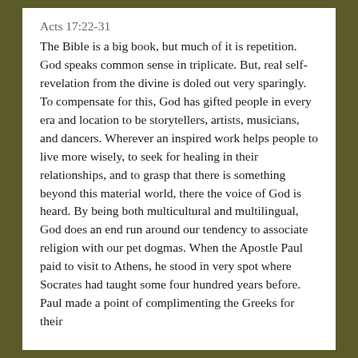Acts 17:22-31
The Bible is a big book, but much of it is repetition. God speaks common sense in triplicate. But, real self-revelation from the divine is doled out very sparingly. To compensate for this, God has gifted people in every era and location to be storytellers, artists, musicians, and dancers. Wherever an inspired work helps people to live more wisely, to seek for healing in their relationships, and to grasp that there is something beyond this material world, there the voice of God is heard. By being both multicultural and multilingual, God does an end run around our tendency to associate religion with our pet dogmas. When the Apostle Paul paid to visit to Athens, he stood in very spot where Socrates had taught some four hundred years before. Paul made a point of complimenting the Greeks for their